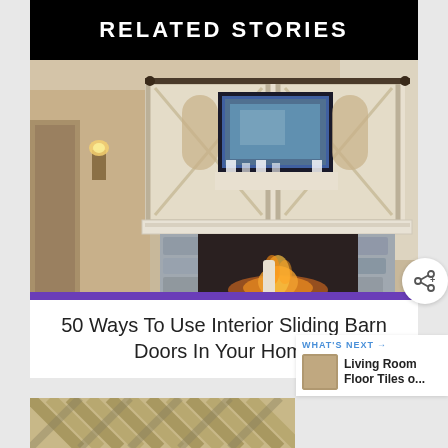RELATED STORIES
[Figure (photo): Interior room photo showing sliding barn doors above a stone fireplace with TV mounted between the doors]
50 Ways To Use Interior Sliding Barn Doors In Your Home
[Figure (photo): Partial view of a floor pattern with diagonal striped design]
WHAT'S NEXT → Living Room Floor Tiles o...